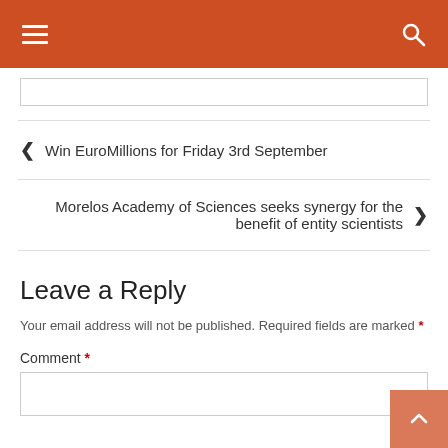Navigation bar with hamburger menu and search icon
Win EuroMillions for Friday 3rd September
Morelos Academy of Sciences seeks synergy for the benefit of entity scientists
Leave a Reply
Your email address will not be published. Required fields are marked *
Comment *